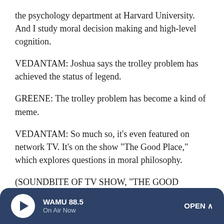the psychology department at Harvard University. And I study moral decision making and high-level cognition.
VEDANTAM: Joshua says the trolley problem has achieved the status of legend.
GREENE: The trolley problem has become a kind of meme.
VEDANTAM: So much so, it's even featured on network TV. It's on the show "The Good Place," which explores questions in moral philosophy.
(SOUNDBITE OF TV SHOW, "THE GOOD PLACE")
WILLIAM JACKSON HARPER: (As Chidi Anagonye) Oh,
WAMU 88.5 · On Air Now · OPEN